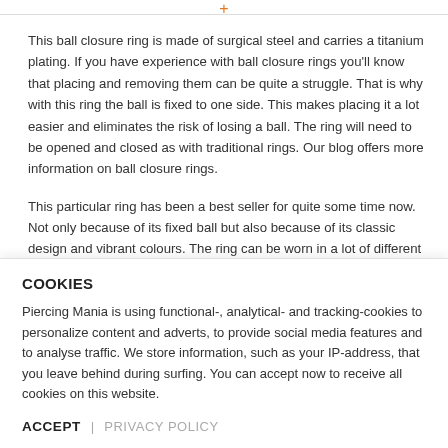This ball closure ring is made of surgical steel and carries a titanium plating. If you have experience with ball closure rings you'll know that placing and removing them can be quite a struggle. That is why with this ring the ball is fixed to one side. This makes placing it a lot easier and eliminates the risk of losing a ball. The ring will need to be opened and closed as with traditional rings. Our blog offers more information on ball closure rings.
This particular ring has been a best seller for quite some time now. Not only because of its fixed ball but also because of its classic design and vibrant colours. The ring can be worn in a lot of different places and every piercing fanatic should have at least several basic rings.
COOKIES
Piercing Mania is using functional-, analytical- and tracking-cookies to personalize content and adverts, to provide social media features and to analyse traffic. We store information, such as your IP-address, that you leave behind during surfing. You can accept now to receive all cookies on this website.
ACCEPT | PRIVACY POLICY
REVIEWS
Product Tags